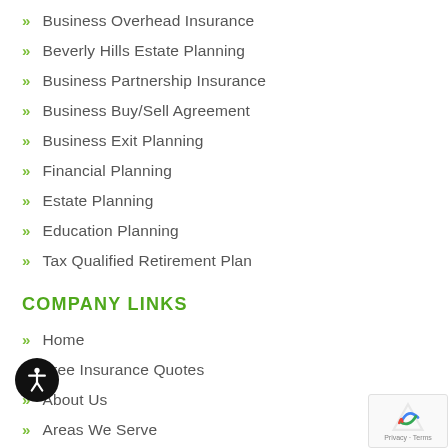Business Overhead Insurance
Beverly Hills Estate Planning
Business Partnership Insurance
Business Buy/Sell Agreement
Business Exit Planning
Financial Planning
Estate Planning
Education Planning
Tax Qualified Retirement Plan
COMPANY LINKS
Home
Free Insurance Quotes
About Us
Areas We Serve
Our Insurance Carriers